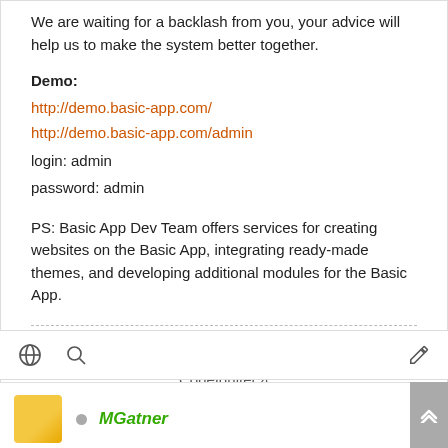We are waiting for a backlash from you, your advice will help us to make the system better together.
Demo:
http://demo.basic-app.com/
http://demo.basic-app.com/admin
login: admin
password: admin
PS: Basic App Dev Team offers services for creating websites on the Basic App, integrating ready-made themes, and developing additional modules for the Basic App.
Basic App, an open source simple CMS based on CodeIgniter 4
MGatner